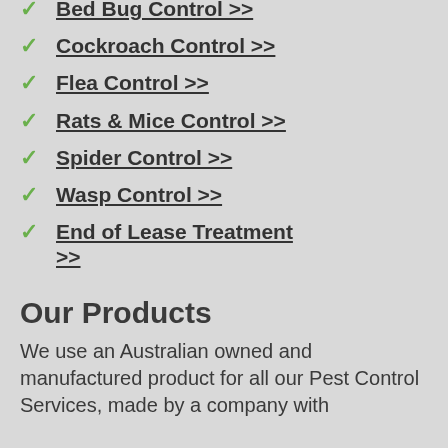Bed Bug Control >>
Cockroach Control >>
Flea Control >>
Rats & Mice Control >>
Spider Control >>
Wasp Control >>
End of Lease Treatment >>
Our Products
We use an Australian owned and manufactured product for all our Pest Control Services, made by a company with